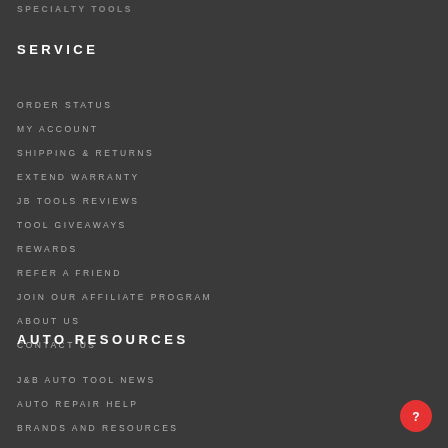SPECIALTY TOOLS
SERVICE
ORDER STATUS
MY ACCOUNT
SHIPPING & RETURNS
EXTEND WARRANTY
JB TOOLS REVIEWS
TOOL GIVEAWAYS
REWARDS
REFER A FRIEND
JOIN OUR AFFILIATE PROGRAM
ABOUT US
CONTACT US
AUTO RESOURCES
J&B AUTO TOOL NEWS
AUTO REPAIR HELP
BRANDS AND RESOURCES